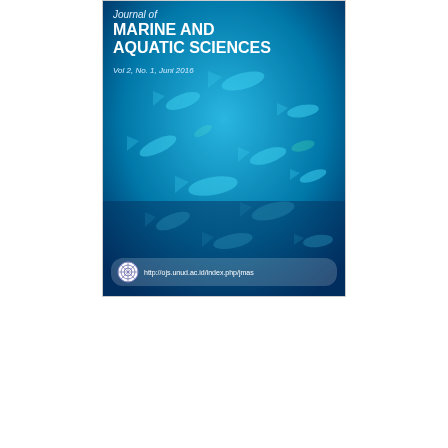[Figure (illustration): Cover image of the Journal of Marine and Aquatic Sciences, Vol 2, No. 1, Juni 2016. Blue underwater background with fish. Shows journal title, volume info, and URL http://ojs.unud.ac.id/index.php/jmas with a circular logo.]
PDF (BAHASA INDONESIA)
PUBLISHED
2016-06-12